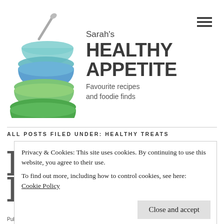[Figure (logo): Sarah's Healthy Appetite logo: stacked mixing bowls in teal, blue, and green with a spoon, beside the text 'Sarah's HEALTHY APPETITE Favourite recipes and foodie finds']
ALL POSTS FILED UNDER: HEALTHY TREATS
Privacy & Cookies: This site uses cookies. By continuing to use this website, you agree to their use. To find out more, including how to control cookies, see here: Cookie Policy
Close and accept
Published by sarahshealthyappetite